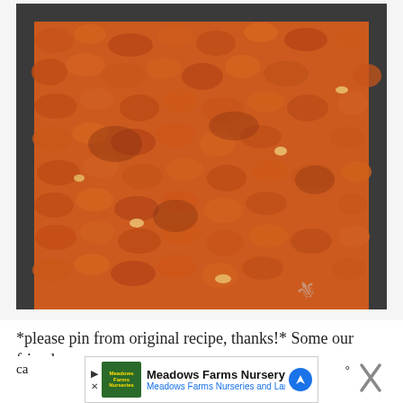[Figure (photo): Close-up photo of a baked dish in a dark baking pan, showing a golden-brown to reddish-brown crumbly streusel or crumble topping with visible chunks, possibly an apple or fruit crumble cake freshly baked.]
*please pin from original recipe, thanks!* Some our friends ca... please... °
[Figure (screenshot): Advertisement banner for Meadows Farms Nursery with logo, title 'Meadows Farms Nursery', subtitle 'Meadows Farms Nurseries and Landsca...', blue navigation icon, and a close (X) button.]